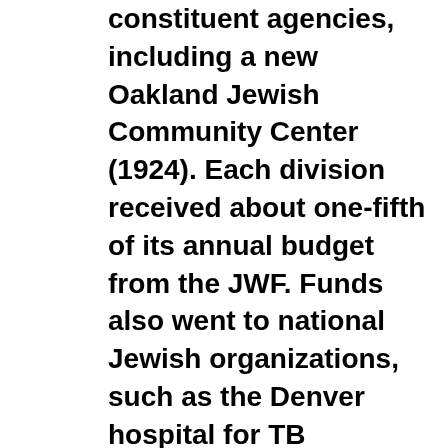constituent agencies, including a new Oakland Jewish Community Center (1924). Each division received about one-fifth of its annual budget from the JWF. Funds also went to national Jewish organizations, such as the Denver hospital for TB patients.

By the mid-1920s, however, restrictions on fund usage by the Oakland Community Chest and the